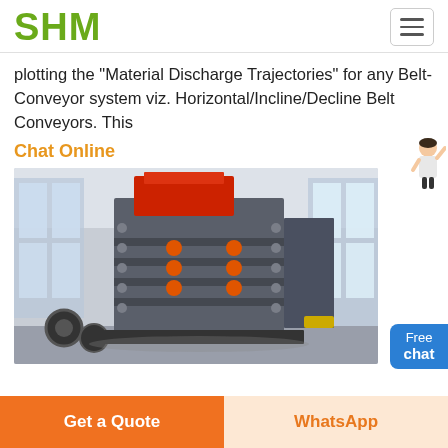SHM
plotting the "Material Discharge Trajectories" for any Belt-Conveyor system viz. Horizontal/Incline/Decline Belt Conveyors. This
Chat Online
[Figure (photo): Large industrial machine (impact crusher or similar heavy equipment) with red hopper on top, grey body with multiple tiers and orange circular elements, photographed inside an industrial warehouse with large windows]
Free chat
Get a Quote
WhatsApp